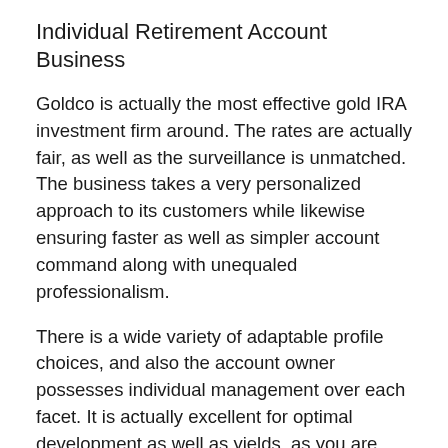Individual Retirement Account Business
Goldco is actually the most effective gold IRA investment firm around. The rates are actually fair, as well as the surveillance is unmatched. The business takes a very personalized approach to its customers while likewise ensuring faster as well as simpler account command along with unequaled professionalism.
There is a wide variety of adaptable profile choices, and also the account owner possesses individual management over each facet. It is actually excellent for optimal development as well as yields, as you are going to see in our Goldco assessment.